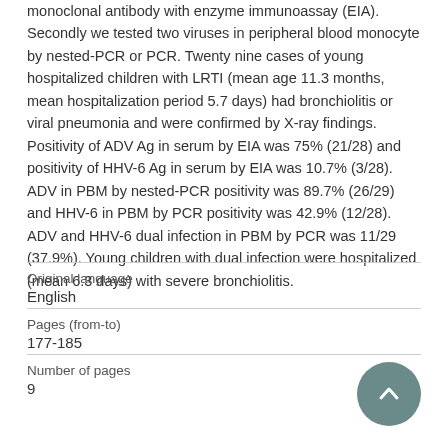monoclonal antibody with enzyme immunoassay (EIA). Secondly we tested two viruses in peripheral blood monocyte by nested-PCR or PCR. Twenty nine cases of young hospitalized children with LRTI (mean age 11.3 months, mean hospitalization period 5.7 days) had bronchiolitis or viral pneumonia and were confirmed by X-ray findings. Positivity of ADV Ag in serum by EIA was 75% (21/28) and positivity of HHV-6 Ag in serum by EIA was 10.7% (3/28). ADV in PBM by nested-PCR positivity was 89.7% (26/29) and HHV-6 in PBM by PCR positivity was 42.9% (12/28). ADV and HHV-6 dual infection in PBM by PCR was 11/29 (37.9%). Young children with dual infection were hospitalized (mean 6.3 days) with severe bronchiolitis.
| Field | Value |
| --- | --- |
| Original language | English |
| Pages (from-to) | 177-185 |
| Number of pages | 9 |